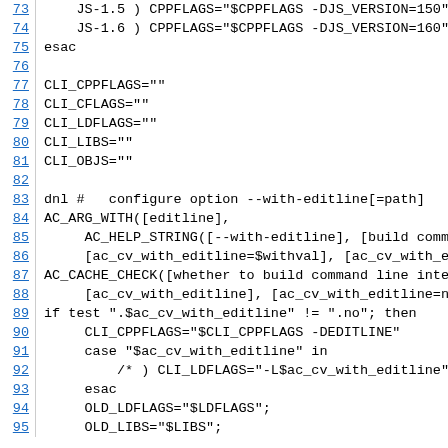73    JS-1.5 ) CPPFLAGS="$CPPFLAGS -DJS_VERSION=150"
74    JS-1.6 ) CPPFLAGS="$CPPFLAGS -DJS_VERSION=160"
75 esac
76
77 CLI_CPPFLAGS=""
78 CLI_CFLAGS=""
79 CLI_LDFLAGS=""
80 CLI_LIBS=""
81 CLI_OBJS=""
82
83 dnl #   configure option --with-editline[=path]
84 AC_ARG_WITH([editline],
85     AC_HELP_STRING([--with-editline], [build comman
86     [ac_cv_with_editline=$withval], [ac_cv_with_edi
87 AC_CACHE_CHECK([whether to build command line inter
88     [ac_cv_with_editline], [ac_cv_with_editline=no]
89 if test ".$ac_cv_with_editline" != ".no"; then
90     CLI_CPPFLAGS="$CLI_CPPFLAGS -DEDITLINE"
91     case "$ac_cv_with_editline" in
92         /* ) CLI_LDFLAGS="-L$ac_cv_with_editline" ;
93     esac
94     OLD_LDFLAGS="$LDFLAGS";
95     OLD_LIBS="$LIBS";